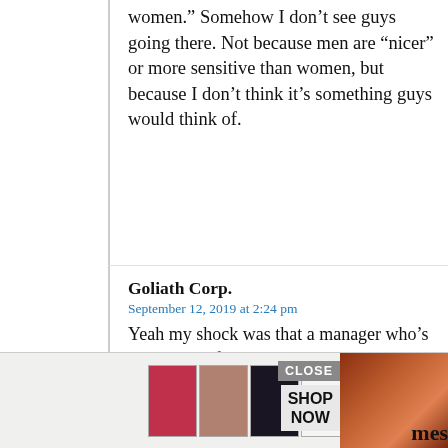women.” Somehow I don’t see guys going there. Not because men are “nicer” or more sensitive than women, but because I don’t think it’s something guys would think of.
Goliath Corp.
September 12, 2019 at 2:24 pm
Yeah my shock was that a manager who’s responsible for HR would play a prank like this — I don’t really care about their gender.
▼ Collapse 2 replies
The Man, Becky Lynch
[Figure (screenshot): Advertisement banner with ULTA beauty product images and CLOSE / SHOP NOW buttons, with a side photo of a red-haired woman]